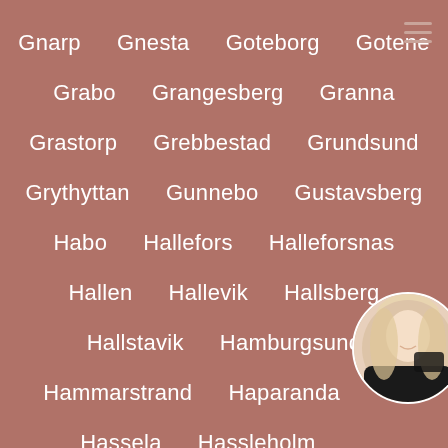Gnarp
Gnesta
Goteborg
Gotene
Grabo
Grangesberg
Granna
Grastorp
Grebbestad
Grundsund
Grythyttan
Gunnebo
Gustavsberg
Habo
Hallefors
Halleforsnas
Hallen
Hallevik
Hallsberg
Hallstavik
Hamburgsund
Hammarstrand
Haparanda
Ha…
Hassela
Hassleholm
H…
Havsbaden
Heby
He…
Hedemora
Helsingborg
Honan
[Figure (photo): Circular avatar photo of a blonde woman in a black outfit, positioned at bottom right corner]